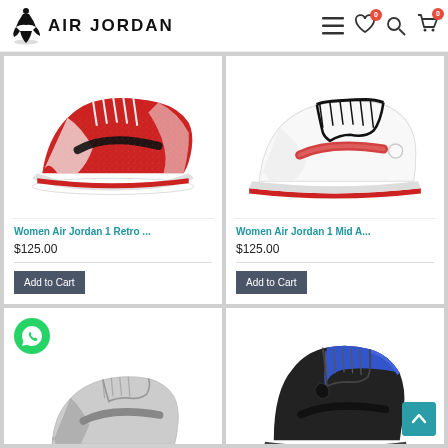AIR JORDAN — navigation header with hamburger menu, wishlist (0), search, and cart (0) icons
[Figure (photo): Women Air Jordan 1 Retro sneaker — red and white with black swoosh, glitter texture]
Women Air Jordan 1 Retro ...
$125.00
Add to Cart
[Figure (photo): Women Air Jordan 1 Mid A... sneaker — white with red sole and red glitter swoosh]
Women Air Jordan 1 Mid A...
$125.00
Add to Cart
[Figure (photo): Gray Air Jordan 1 mid sneaker (partially visible, bottom row left)]
[Figure (photo): Black and blue Air Jordan 1 high sneaker (partially visible, bottom row right)]